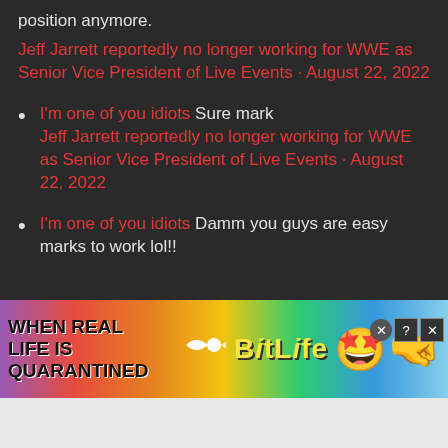position anymore.
Jeff Jarrett reportedly no longer working for WWE as Senior Vice President of Live Events · August 22, 2022
I'm one of you idiots Sure mark Jeff Jarrett reportedly no longer working for WWE as Senior Vice President of Live Events · August 22, 2022
I'm one of you idiots Damm you guys are easy marks to work lol!!
[Figure (screenshot): BitLife mobile game advertisement banner with rainbow background, text 'WHEN REAL LIFE IS QUARANTINED' and BitLife logo with emoji characters]